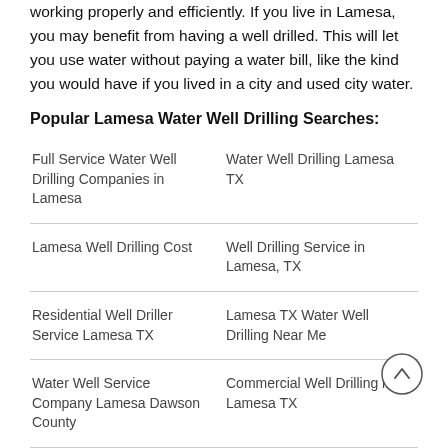working properly and efficiently. If you live in Lamesa, you may benefit from having a well drilled. This will let you use water without paying a water bill, like the kind you would have if you lived in a city and used city water.
Popular Lamesa Water Well Drilling Searches:
| Full Service Water Well Drilling Companies in Lamesa | Water Well Drilling Lamesa TX |
| Lamesa Well Drilling Cost | Well Drilling Service in Lamesa, TX |
| Residential Well Driller Service Lamesa TX | Lamesa TX Water Well Drilling Near Me |
| Water Well Service Company Lamesa Dawson County | Commercial Well Drilling in Lamesa TX |
You can trust that our well driller team will provide you with quality well drilling services from start to finish. The Lamesa TX Well Drilling Co. is the company to call for